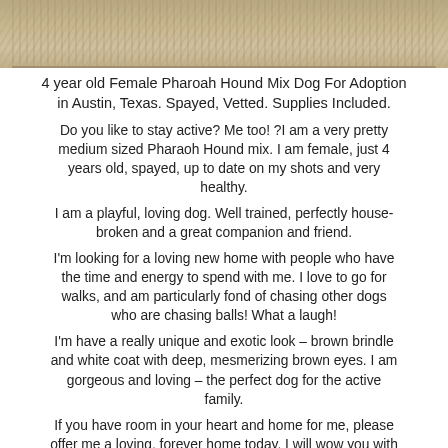[Figure (photo): Photo of a dog (Pharaoh Hound mix) with brown brindle and white coat, partially visible at the top of the page against a textured sandy/gravelly background.]
4 year old Female Pharoah Hound Mix Dog For Adoption in Austin, Texas. Spayed, Vetted. Supplies Included.
Do you like to stay active? Me too! ?I am a very pretty medium sized Pharaoh Hound mix. I am female, just 4 years old, spayed, up to date on my shots and very healthy.
I am a playful, loving dog. Well trained, perfectly house-broken and a great companion and friend.
I'm looking for a loving new home with people who have the time and energy to spend with me. I love to go for walks, and am particularly fond of chasing other dogs who are chasing balls! What a laugh!
I'm have a really unique and exotic look – brown brindle and white coat with deep, mesmerizing brown eyes. I am gorgeous and loving – the perfect dog for the active family.
If you have room in your heart and home for me, please offer me a loving, forever home today. I will wow you with wiggles and leave paw prints on your heart.